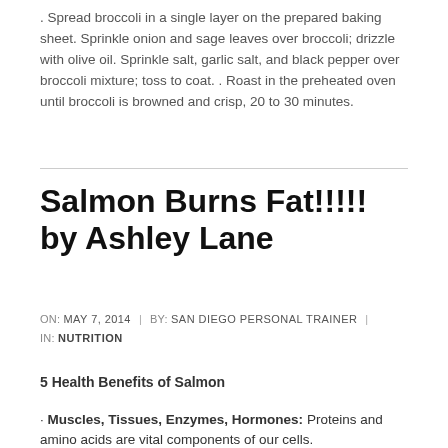. Spread broccoli in a single layer on the prepared baking sheet. Sprinkle onion and sage leaves over broccoli; drizzle with olive oil. Sprinkle salt, garlic salt, and black pepper over broccoli mixture; toss to coat. . Roast in the preheated oven until broccoli is browned and crisp, 20 to 30 minutes.
Salmon Burns Fat!!!!! by Ashley Lane
ON: MAY 7, 2014 | BY: SAN DIEGO PERSONAL TRAINER IN: NUTRITION
5 Health Benefits of Salmon
· Muscles, Tissues, Enzymes, Hormones: Proteins and amino acids are vital components of our cells.